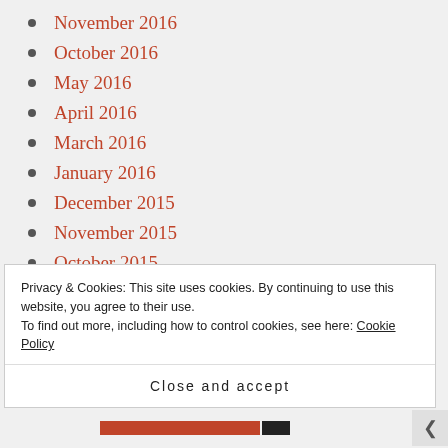November 2016
October 2016
May 2016
April 2016
March 2016
January 2016
December 2015
November 2015
October 2015
July 2015
June 2015
May 2015
Privacy & Cookies: This site uses cookies. By continuing to use this website, you agree to their use.
To find out more, including how to control cookies, see here: Cookie Policy
Close and accept